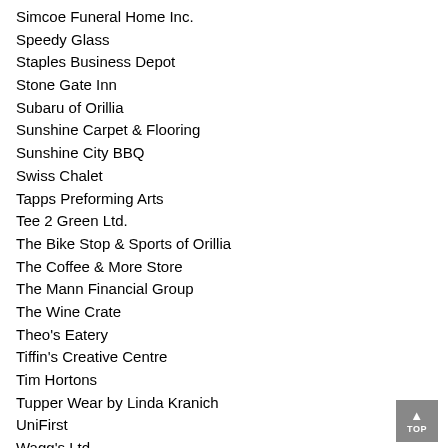Simcoe Funeral Home Inc.
Speedy Glass
Staples Business Depot
Stone Gate Inn
Subaru of Orillia
Sunshine Carpet & Flooring
Sunshine City BBQ
Swiss Chalet
Tapps Preforming Arts
Tee 2 Green Ltd.
The Bike Stop & Sports of Orillia
The Coffee & More Store
The Mann Financial Group
The Wine Crate
Theo's Eatery
Tiffin's Creative Centre
Tim Hortons
Tupper Wear by Linda Kranich
UniFirst
Wagg's Ltd
Wagner Lawn Care
Wavemaker Pool Spa Showroom
Wild Wing
Wild Wing